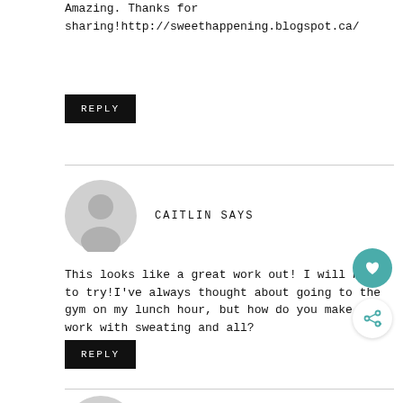Amazing. Thanks for sharing!http://sweethappening.blogspot.ca/
REPLY
CAITLIN SAYS
This looks like a great work out! I will have to try!I've always thought about going to the gym on my lunch hour, but how do you make it work with sweating and all?
REPLY
JESS SAYS